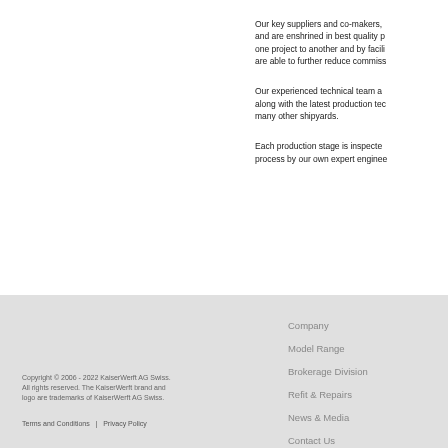Our key suppliers and co-makers, and are enshrined in best quality p one project to another and by facili are able to further reduce commiss
Our experienced technical team a along with the latest production tec many other shipyards.
Each production stage is inspecte process by our own expert enginee
Copyright © 2006 - 2022 KaiserWerft AG Swiss. All rights reserved. The KaiserWerft brand and logo are trademarks of KaiserWerft AG Swiss.
Terms and Conditions  |  Privacy Policy
Company
Model Range
Brokerage Division
Refit & Repairs
News & Media
Contact Us